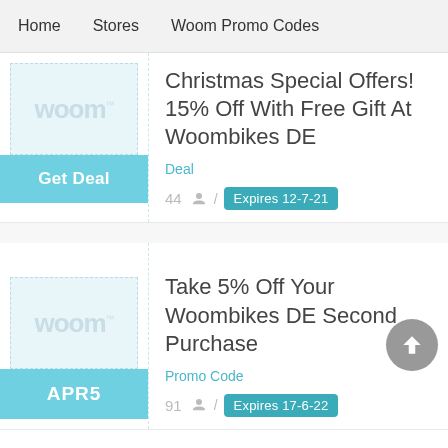Home  Stores  Woom Promo Codes
[Figure (logo): Woom brand logo in light blue/grey tones]
Christmas Special Offers! 15% Off With Free Gift At Woombikes DE
Deal
44  /  Expires 12-7-21
[Figure (logo): Woom brand logo in light blue/grey tones]
Take 5% Off Your Woombikes DE Second Purchase
Promo Code
91  /  Expires 17-6-22
APR5